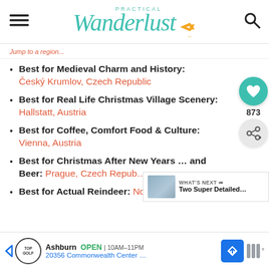Practical Wanderlust [logo with plane icon]
Best for Medieval Charm and History: Český Krumlov, Czech Republic
Best for Real Life Christmas Village Scenery: Hallstatt, Austria
Best for Coffee, Comfort Food & Culture: Vienna, Austria
Best for Christmas After New Years … and Beer: Prague, Czech Republic
Best for Actual Reindeer: Norway